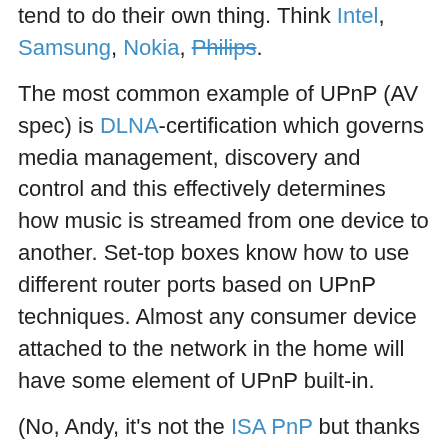tend to do their own thing. Think Intel, Samsung, Nokia, Philips.
The most common example of UPnP (AV spec) is DLNA-certification which governs media management, discovery and control and this effectively determines how music is streamed from one device to another. Set-top boxes know how to use different router ports based on UPnP techniques. Almost any consumer device attached to the network in the home will have some element of UPnP built-in.
(No, Andy, it’s not the ISA PnP but thanks for the trip down memory lane.)
Interview by Andy McCaskey and Courtney Wallin of SDR News and RV News Net.
Support my CES 2020 Sponsor: